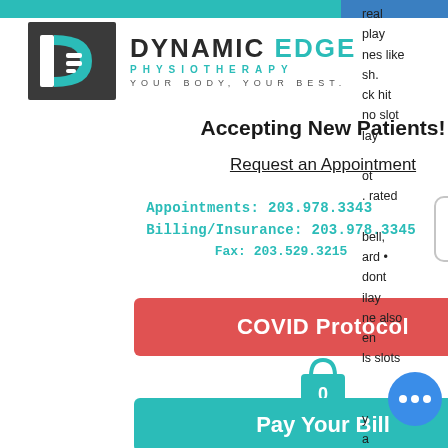[Figure (logo): Dynamic Edge Physiotherapy logo with teal and dark grey branding. YOUR BODY, YOUR BEST. tagline.]
Accepting New Patients!
Request an Appointment
Appointments: 203.978.3343
Billing/Insurance: 203.978.3345
Fax: 203.529.3215
[Figure (infographic): COVID Protocol red button]
[Figure (infographic): Shopping bag icon with 0]
[Figure (infographic): Pay Your Bill teal button]
real play nes like sh. ck hit no slot lay ot . rated bell, ard • dont ilay ne also en ls slots y a